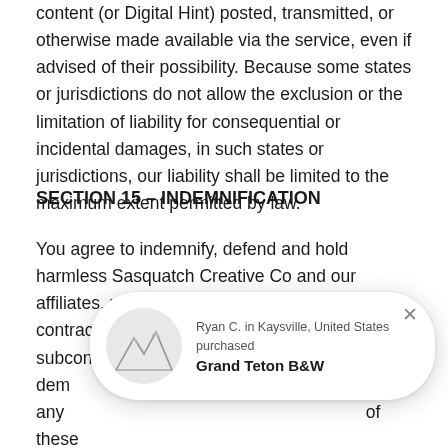content (or Digital Hint) posted, transmitted, or otherwise made available via the service, even if advised of their possibility. Because some states or jurisdictions do not allow the exclusion or the limitation of liability for consequential or incidental damages, in such states or jurisdictions, our liability shall be limited to the maximum extent permitted by law.
SECTION 15 – INDEMNIFICATION
You agree to indemnify, defend and hold harmless Sasquatch Creative Co and our affiliates, partners, officers, directors, agents, contractors, licensors, service providers, subcontractors, suppliers, interns … or … demands … arise by any … of these … incorporate by reference, or your violation of any law or the rights of a third-party.
[Figure (other): Popup notification showing a mountain landscape thumbnail image with text: 'Ryan C. in Kaysville, United States purchased Grand Teton B&W' with a close (X) button]